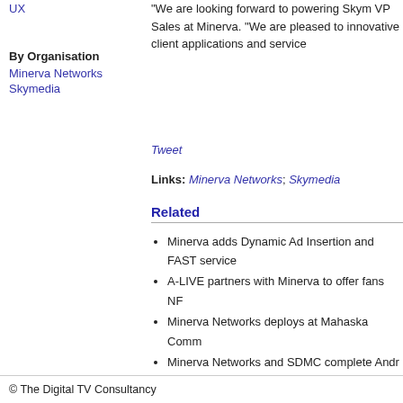UX
By Organisation
Minerva Networks
Skymedia
“We are looking forward to powering Skym VP Sales at Minerva. “We are pleased to innovative client applications and service
Tweet
Links: Minerva Networks; Skymedia
Related
Minerva adds Dynamic Ad Insertion and FAST service
A-LIVE partners with Minerva to offer fans NF
Minerva Networks deploys at Mahaska Comm
Minerva Networks and SDMC complete Andr
Clearcable adds Minerva Networks IPTV plat
© The Digital TV Consultancy